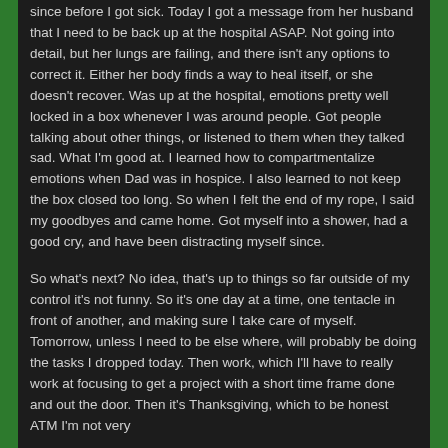since before I got sick. Today I got a message from her husband that I need to be back up at the hospital ASAP. Not going into detail, but her lungs are failing, and there isn't any options to correct it. Either her body finds a way to heal itself, or she doesn't recover. Was up at the hospital, emotions pretty well locked in a box whenever I was around people. Got people talking about other things, or listened to them when they talked sad. What I'm good at. I learned how to compartmentalize emotions when Dad was in hospice. I also learned to not keep the box closed too long. So when I felt the end of my rope, I said my goodbyes and came home. Got myself into a shower, had a good cry, and have been distracting myself since.
So what's next? No idea, that's up to things so far outside of my control it's not funny. So it's one day at a time, one tentacle in front of another, and making sure I take care of myself. Tomorrow, unless I need to be else where, will probably be doing the tasks I dropped today. Then work, which I'll have to really work at focusing to get a project with a short time frame done and out the door. Then it's Thanksgiving, which to be honest ATM I'm not very